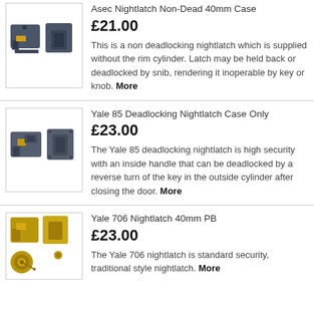[Figure (photo): Asec Nightlatch Non-Dead 40mm Case product image showing two dark grey lock components]
Asec Nightlatch Non-Dead 40mm Case
£21.00
This is a non deadlocking nightlatch which is supplied without the rim cylinder. Latch may be held back or deadlocked by snib, rendering it inoperable by key or knob. More
[Figure (photo): Yale 85 Deadlocking Nightlatch Case Only product image showing two dark grey metallic lock components]
Yale 85 Deadlocking Nightlatch Case Only
£23.00
The Yale 85 deadlocking nightlatch is high security with an inside handle that can be deadlocked by a reverse turn of the key in the outside cylinder after closing the door. More
[Figure (photo): Yale 706 Nightlatch 40mm PB product image showing brass/gold coloured lock components including cylinder]
Yale 706 Nightlatch 40mm PB
£23.00
The Yale 706 nightlatch is standard security, traditional style nightlatch. More